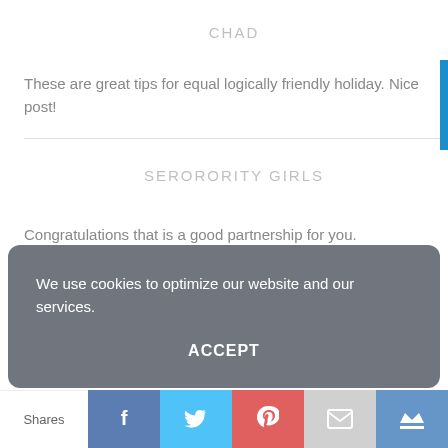CHAD
These are great tips for equal logically friendly holiday. Nice post!
SERORORITY GIRLS
Congratulations that is a good partnership for you.
We use cookies to optimize our website and our services.
ACCEPT
Shares